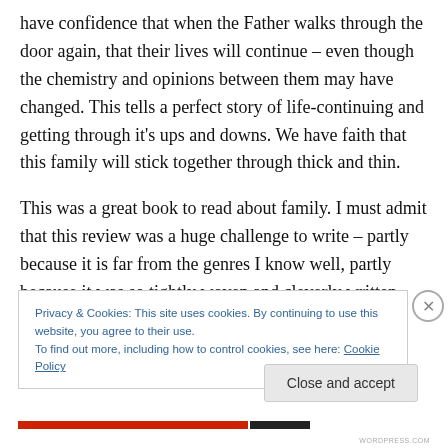have confidence that when the Father walks through the door again, that their lives will continue – even though the chemistry and opinions between them may have changed. This tells a perfect story of life-continuing and getting through it's ups and downs. We have faith that this family will stick together through thick and thin.
This was a great book to read about family. I must admit that this review was a huge challenge to write – partly because it is far from the genres I know well, partly because it was so tightly woven and cleverly written, and
Privacy & Cookies: This site uses cookies. By continuing to use this website, you agree to their use.
To find out more, including how to control cookies, see here: Cookie Policy
Close and accept